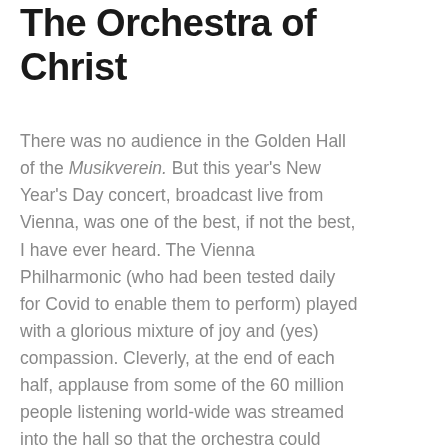The Orchestra of Christ
There was no audience in the Golden Hall of the Musikverein. But this year's New Year's Day concert, broadcast live from Vienna, was one of the best, if not the best, I have ever heard. The Vienna Philharmonic (who had been tested daily for Covid to enable them to perform) played with a glorious mixture of joy and (yes) compassion. Cleverly, at the end of each half, applause from some of the 60 million people listening world-wide was streamed into the hall so that the orchestra could hear.